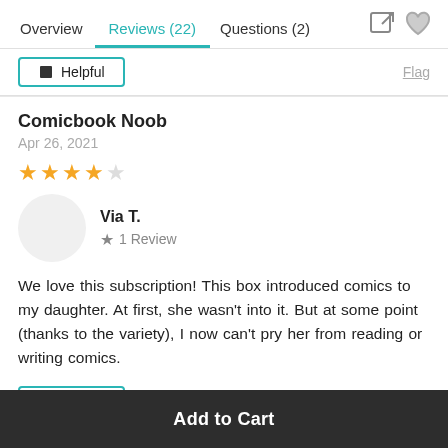Overview | Reviews (22) | Questions (2)
Helpful | Flag
Comicbook Noob
Apr 26, 2021
[Figure (other): 4 filled orange stars rating]
Via T. — 1 Review
We love this subscription! This box introduced comics to my daughter. At first, she wasn't into it. But at some point (thanks to the variety), I now can't pry her from reading or writing comics.
Helpful | Flag
Add to Cart